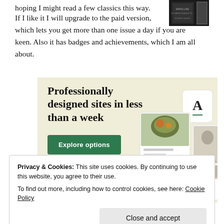hoping I might read a few classics this way. If I like it I will upgrade to the paid version, which lets you get more than one issue a day if you are keen. Also it has badges and achievements, which I am all about.
[Figure (other): Book cover thumbnail in dark colors, top right corner]
[Figure (other): Advertisement banner with tan/cream background. Headline reads 'Professionally designed sites in less than a week' with a green 'Explore options' button and device mockup images on the right.]
Privacy & Cookies: This site uses cookies. By continuing to use this website, you agree to their use.
To find out more, including how to control cookies, see here: Cookie Policy
[Close and accept button]
What do you think you will read next?